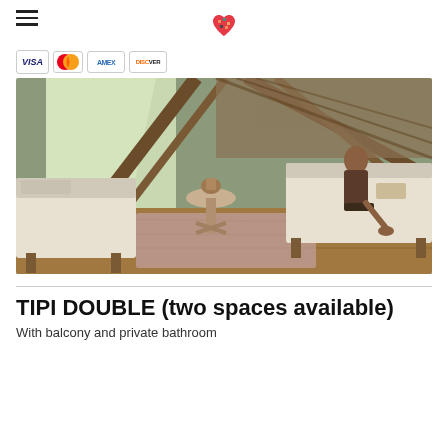Navigation header with hamburger menu and heart logo
[Figure (photo): Payment card icons: Visa, Mastercard, American Express, Discover]
[Figure (photo): Interior of a tipi room with wooden A-frame structure, two single beds with white linens, a round side table, wooden floor with a pink/mauve rug, and a person sitting on one of the beds. Natural light comes through the triangular window openings showing green foliage outside.]
TIPI DOUBLE (two spaces available)
With balcony and private bathroom